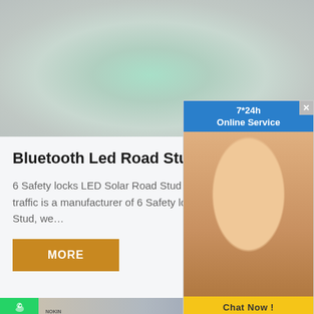[Figure (photo): Close-up photo of a glowing green LED solar road stud against a gray background]
[Figure (screenshot): Advertisement overlay showing 7*24h Online Service chat widget with a woman wearing headset and Chat Now button]
Bluetooth Led Road Stud With 6 Safety L...
6 Safety locks LED Solar Road Stud Manufacturer NOKIN traffic is a manufacturer of 6 Safety locks LED Solar Road Stud, we…
MORE
[Figure (photo): Bottom partial photo showing NOKIN road studs with LED lights and a date badge showing 11 Aug, with WhatsApp icon overlay]